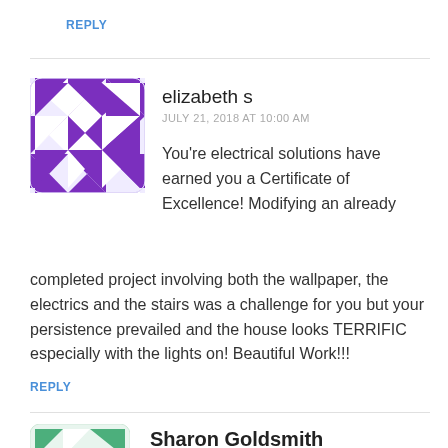REPLY
[Figure (illustration): Purple geometric avatar with triangles and chevrons pattern for user elizabeth s]
elizabeth s
JULY 21, 2018 AT 10:00 AM
You're electrical solutions have earned you a Certificate of Excellence! Modifying an already completed project involving both the wallpaper, the electrics and the stairs was a challenge for you but your persistence prevailed and the house looks TERRIFIC especially with the lights on! Beautiful Work!!!
REPLY
[Figure (illustration): Green geometric avatar with triangles and squares pattern for user Sharon Goldsmith]
Sharon Goldsmith
JULY 21, 2018 AT 10:52 AM